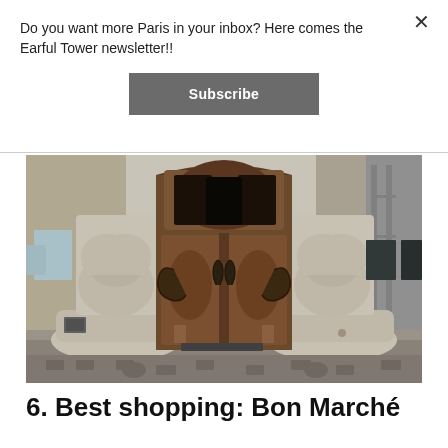Do you want more Paris in your inbox? Here comes the Earful Tower newsletter!!
Subscribe
[Figure (photo): Art Nouveau style ornate wooden entrance door with decorative stone pillars flanking it, photographed on a Parisian street]
6. Best shopping: Bon Marché